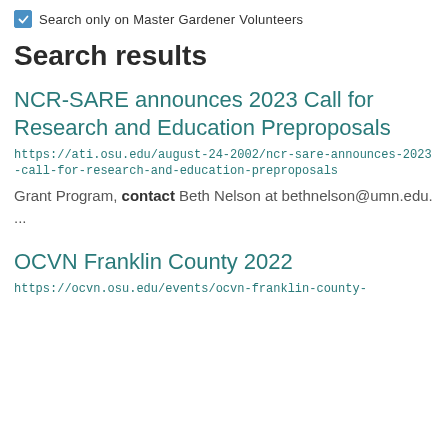Search only on Master Gardener Volunteers
Search results
NCR-SARE announces 2023 Call for Research and Education Preproposals
https://ati.osu.edu/august-24-2002/ncr-sare-announces-2023-call-for-research-and-education-preproposals
Grant Program, contact Beth Nelson at bethnelson@umn.edu. ...
OCVN Franklin County 2022
https://ocvn.osu.edu/events/ocvn-franklin-county-